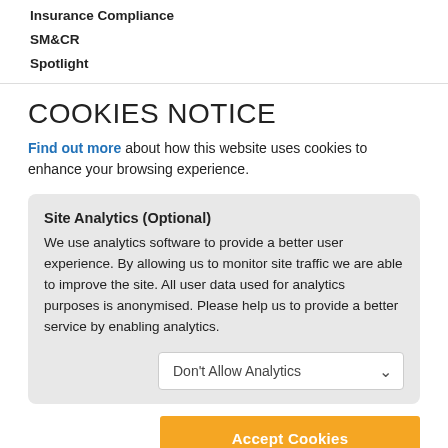Insurance Compliance
SM&CR
Spotlight
COOKIES NOTICE
Find out more about how this website uses cookies to enhance your browsing experience.
Site Analytics (Optional)
We use analytics software to provide a better user experience. By allowing us to monitor site traffic we are able to improve the site. All user data used for analytics purposes is anonymised. Please help us to provide a better service by enabling analytics.
Don't Allow Analytics
Accept Cookies